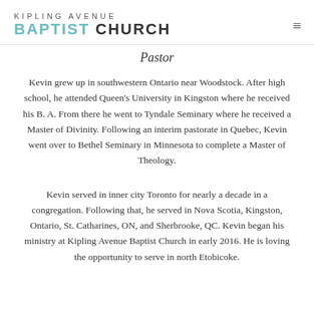KIPLING AVENUE BAPTIST CHURCH
Pastor
Kevin grew up in southwestern Ontario near Woodstock. After high school, he attended Queen's University in Kingston where he received his B. A. From there he went to Tyndale Seminary where he received a Master of Divinity. Following an interim pastorate in Quebec, Kevin went over to Bethel Seminary in Minnesota to complete a Master of Theology.
Kevin served in inner city Toronto for nearly a decade in a congregation. Following that, he served in Nova Scotia, Kingston, Ontario, St. Catharines, ON, and Sherbrooke, QC. Kevin began his ministry at Kipling Avenue Baptist Church in early 2016. He is loving the opportunity to serve in north Etobicoke.